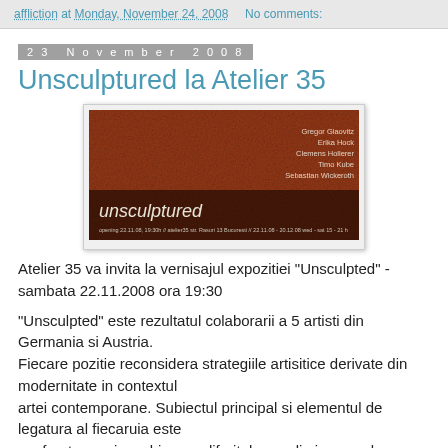affliction at Monday, November 24, 2008   No comments:
23 November 2008
Unsculptured la Atelier 35
[Figure (photo): Exhibition poster for 'unsculptured' showing a reddish-brown textured surface with artist names: Gregor Glaovitz, Erika Hock, Clemens Hollerer, Timo Kube, Sebastian Wickeroth. Text reads: 'unsculptured' with opening details.]
Atelier 35 va invita la vernisajul expozitiei "Unsculpted" - sambata 22.11.2008 ora 19:30
"Unsculpted" este rezultatul colaborarii a 5 artisti din Germania si Austria.
Fiecare pozitie reconsidera strategiile artisitice derivate din modernitate in contextul
artei contemporane. Subiectul principal si elementul de legatura al fiecaruia este
confruntarea si combinarea diferitelor media in sensul